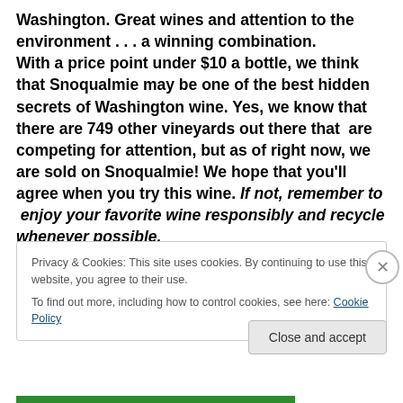Washington.  Great wines and attention to the environment . . . a winning combination. With a price point under $10 a bottle, we think that Snoqualmie may be one of the best hidden secrets of Washington wine.  Yes, we know that there are 749 other vineyards out there that  are competing for attention, but as of right now, we are sold on Snoqualmie!  We hope that you'll agree when you try this wine.  If not, remember to  enjoy your favorite wine responsibly and recycle whenever possible.
Privacy & Cookies: This site uses cookies. By continuing to use this website, you agree to their use. To find out more, including how to control cookies, see here: Cookie Policy